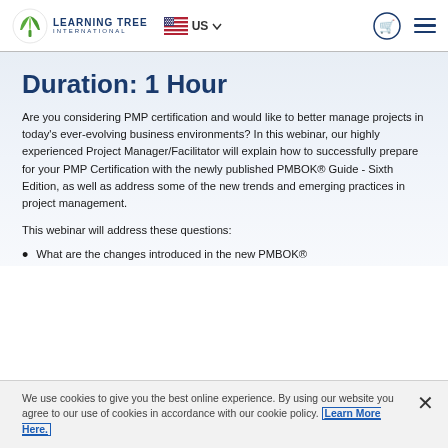Learning Tree International — US — navigation header
Duration: 1 Hour
Are you considering PMP certification and would like to better manage projects in today's ever-evolving business environments? In this webinar, our highly experienced Project Manager/Facilitator will explain how to successfully prepare for your PMP Certification with the newly published PMBOK® Guide - Sixth Edition, as well as address some of the new trends and emerging practices in project management.
This webinar will address these questions:
What are the changes introduced in the new PMBOK®
We use cookies to give you the best online experience. By using our website you agree to our use of cookies in accordance with our cookie policy. Learn More Here.